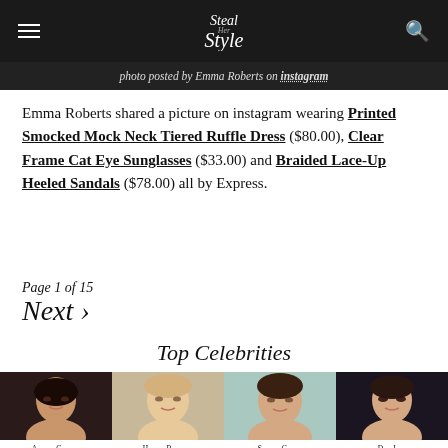Steal Her Style
photo posted by Emma Roberts on instagram
Emma Roberts shared a picture on instagram wearing Printed Smocked Mock Neck Tiered Ruffle Dress ($80.00), Clear Frame Cat Eye Sunglasses ($33.00) and Braided Lace-Up Heeled Sandals ($78.00) all by Express.
Page 1 of 15
Next ›
Top Celebrities
[Figure (photo): Portrait photo of Ariana Grande]
Ariana Grande
[Figure (photo): Portrait photo of Hailey Baldwin]
Hailey Baldwin
[Figure (photo): Portrait photo of Selena Gomez]
Selena Gomez
[Figure (photo): Portrait photo of Dua Lipa]
Dua Lipa